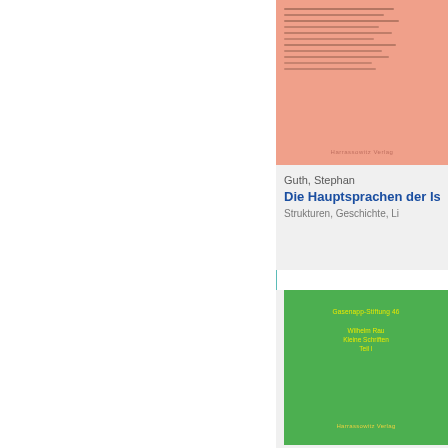[Figure (illustration): Book cover with salmon/pink background and handwritten manuscript text, publisher 'Harrassowitz Verlag' at bottom]
Guth, Stephan
Die Hauptsprachen der Is...
Strukturen, Geschichte, Li...
[Figure (illustration): Green book cover with yellow text: Gasenapp-Stiftung 46, Wilhelm Rau, Kleine Schriften, Teil I, Harrassowitz Verlag]